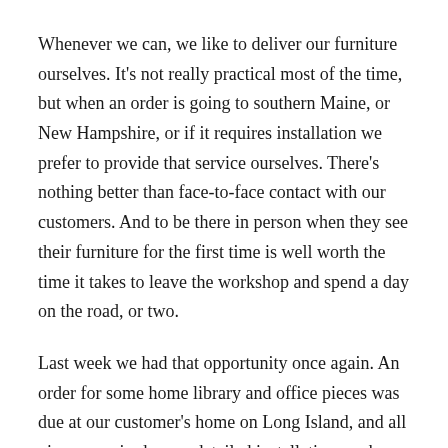Whenever we can, we like to deliver our furniture ourselves. It's not really practical most of the time, but when an order is going to southern Maine, or New Hampshire, or if it requires installation we prefer to provide that service ourselves. There's nothing better than face-to-face contact with our customers. And to be there in person when they see their furniture for the first time is well worth the time it takes to leave the workshop and spend a day on the road, or two.
Last week we had that opportunity once again. An order for some home library and office pieces was due at our customer's home on Long Island, and all pieces required some detailed installation work. Who better to do that than Bill Huston himself, and Saer too? It's a long drive to Long Island from Kennebunkport. And there's a fair ride...